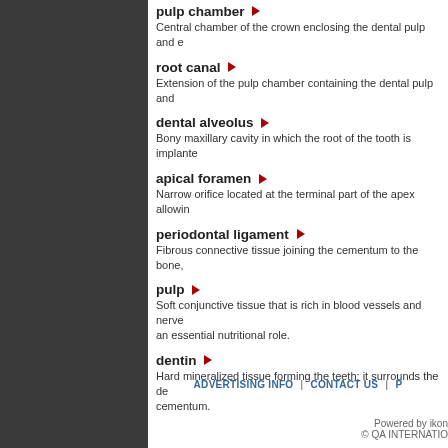pulp chamber — Central chamber of the crown enclosing the dental pulp and e
root canal — Extension of the pulp chamber containing the dental pulp and
dental alveolus — Bony maxillary cavity in which the root of the tooth is implante
apical foramen — Narrow orifice located at the terminal part of the apex allowin
periodontal ligament — Fibrous connective tissue joining the cementum to the bone,
pulp — Soft conjunctive tissue that is rich in blood vessels and nerve an essential nutritional role.
dentin — Hard mineralized tissue forming the teeth; it surrounds the de cementum.
ADVERTISING INFO | CONTACT US | P
Powered by ikon © QA INTERNATIO